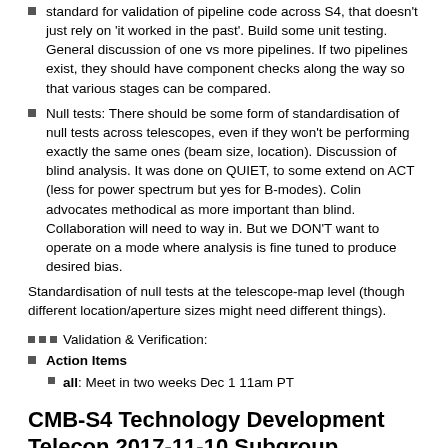standard for validation of pipeline code across S4, that doesn't just rely on 'it worked in the past'. Build some unit testing. General discussion of one vs more pipelines. If two pipelines exist, they should have component checks along the way so that various stages can be compared.
Null tests: There should be some form of standardisation of null tests across telescopes, even if they won't be performing exactly the same ones (beam size, location). Discussion of blind analysis. It was done on QUIET, to some extend on ACT (less for power spectrum but yes for B-modes). Colin advocates methodical as more important than blind. Collaboration will need to way in. But we DON'T want to operate on a mode where analysis is fine tuned to produce desired bias.
Standardisation of null tests at the telescope-map level (though different location/aperture sizes might need different things).
Validation & Verification:
Action Items
all: Meet in two weeks Dec 1 11am PT
CMB-S4 Technology Development Telecon 2017-11-10 Subgroup Meeting: Data Management
Agenda